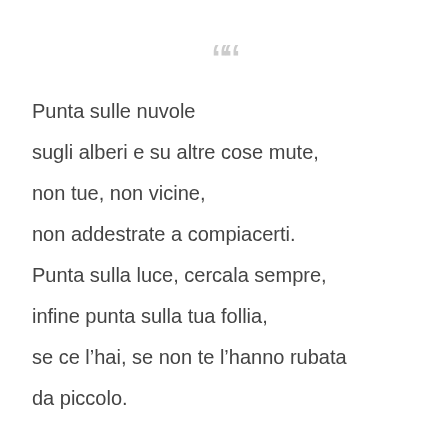““
Punta sulle nuvole

sugli alberi e su altre cose mute,

non tue, non vicine,

non addestrate a compiacerti.

Punta sulla luce, cercala sempre,

infine punta sulla tua follia,

se ce l’hai, se non te l’hanno rubata

da piccolo.